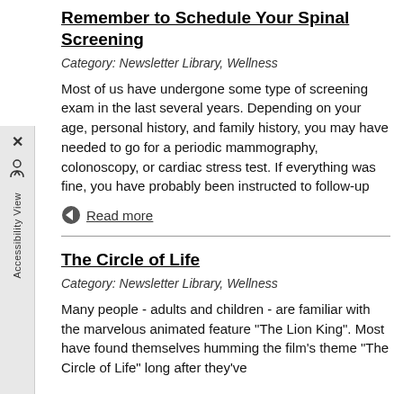Remember to Schedule Your Spinal Screening
Category: Newsletter Library, Wellness
Most of us have undergone some type of screening exam in the last several years. Depending on your age, personal history, and family history, you may have needed to go for a periodic mammography, colonoscopy, or cardiac stress test. If everything was fine, you have probably been instructed to follow-up
Read more
The Circle of Life
Category: Newsletter Library, Wellness
Many people - adults and children - are familiar with the marvelous animated feature "The Lion King". Most have found themselves humming the film's theme "The Circle of Life" long after they've